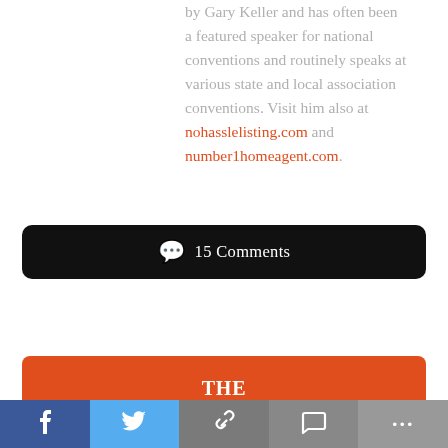by Gary Keller and has often been a featured speaker for national conventions and routinely speaks at various state and local association conventions. Visit him also at nohasslelisting.com and number1homeagent.com.
💬 15 Comments
THE AMERICAN GENIUS
[Figure (infographic): Social sharing bar with Facebook, Twitter, link, chat, and more buttons]